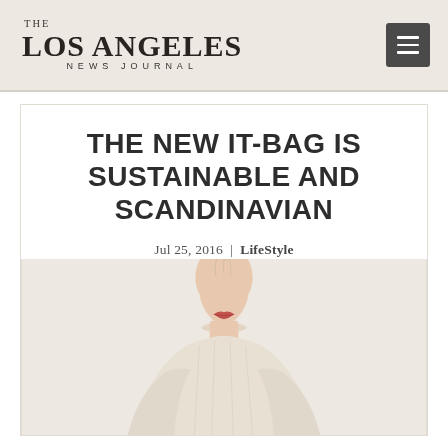THE LOS ANGELES NEWS JOURNAL
THE NEW IT-BAG IS SUSTAINABLE AND SCANDINAVIAN
Jul 25, 2016 | LifeStyle
[Figure (photo): Fashion model wearing a cream/white sweater against a light background, cropped at neck level showing lower face with red lips]